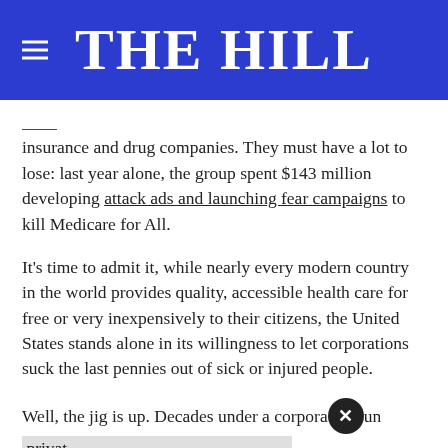THE HILL
insurance and drug companies. They must have a lot to lose: last year alone, the group spent $143 million developing attack ads and launching fear campaigns to kill Medicare for All.
It’s time to admit it, while nearly every modern country in the world provides quality, accessible health care for free or very inexpensively to their citizens, the United States stands alone in its willingness to let corporations suck the last pennies out of sick or injured people.
Well, the jig is up. Decades under a corporate-run privat[ized system has made it abundantly clear] that we can't [afford to wait any longer for high-qua]lity health[care. We need to establish bold steps to that is]